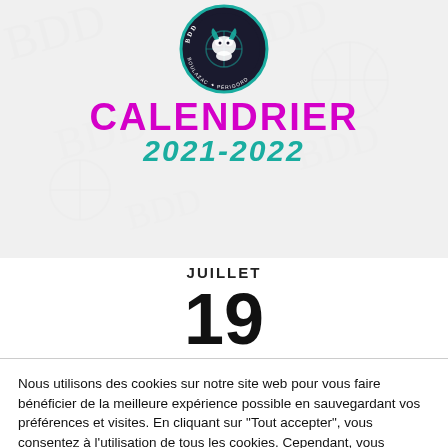[Figure (logo): BDD Boulazac Périgord basketball club circular logo with teal and dark colors]
CALENDRIER 2021-2022
JUILLET 19
Nous utilisons des cookies sur notre site web pour vous faire bénéficier de la meilleure expérience possible en sauvegardant vos préférences et visites. En cliquant sur "Tout accepter", vous consentez à l'utilisation de tous les cookies. Cependant, vous pouvez vous rendre dans les réglages pour affiner votre consentement.
Réglages
Tout accepter
Tout rejeter